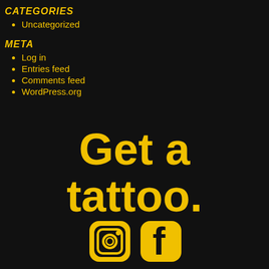CATEGORIES
Uncategorized
META
Log in
Entries feed
Comments feed
WordPress.org
Get a tattoo.
[Figure (illustration): Two social media icons (Instagram and Facebook) in yellow/gold color on dark background, partially visible at bottom of page]